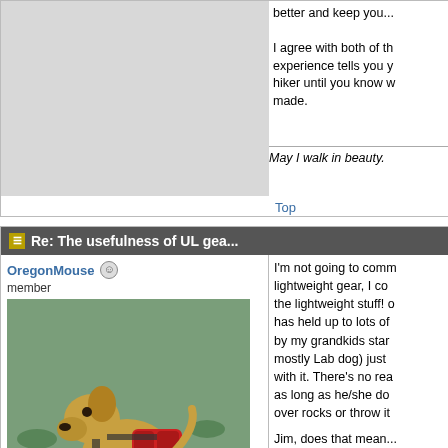better and keep you...
I agree with both of th... experience tells you... hiker until you know w... made.
May I walk in beauty.
Top
Re: The usefulness of UL gea...
OregonMouse member
[Figure (photo): A yellow Labrador dog wearing red hiking saddlebags, standing on rocks near water with lily pads in the background.]
Registered: 02/03/06
Posts: 6781
Loc: Gateway to Columbia Gorge
I'm not going to comm... lightweight gear, I co... the lightweight stuff!... has held up to lots of... by my grandkids star... mostly Lab dog) just... with it. There's no rea... as long as he/she do... over rocks or throw it
Jim, does that mean...
Edited by OregonMo...